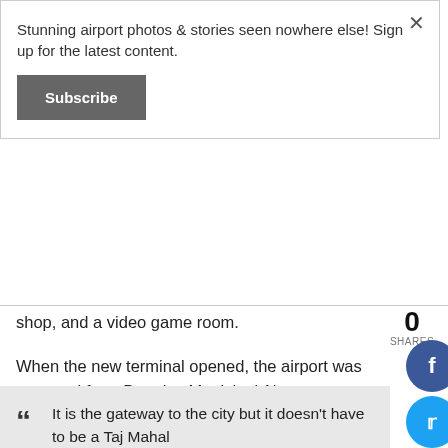Stunning airport photos & stories seen nowhere else! Sign up for the latest content.
Subscribe
shop, and a video game room.
0
SHARES
When the new terminal opened, the airport was renamed from Douglas Municipal Airport to Charlotte Douglas International Airport. The airport is named after Benjamin Elbert "Ben" Douglas Sr., who served as mayor of Charlotte from 1935 to 1941.
“ It is the gateway to the city but it doesn't have to be a Taj Mahal